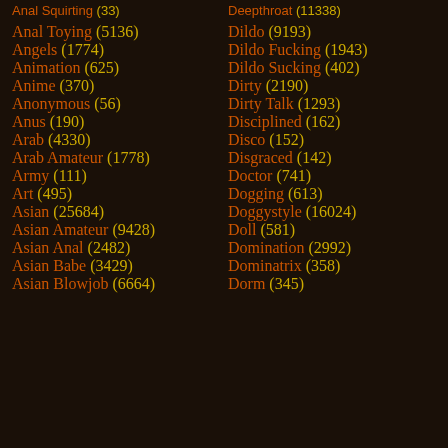Anal Squirting (33)
Deepthroat (11338)
Anal Toying (5136)
Dildo (9193)
Angels (1774)
Dildo Fucking (1943)
Animation (625)
Dildo Sucking (402)
Anime (370)
Dirty (2190)
Anonymous (56)
Dirty Talk (1293)
Anus (190)
Disciplined (162)
Arab (4330)
Disco (152)
Arab Amateur (1778)
Disgraced (142)
Army (111)
Doctor (741)
Art (495)
Dogging (613)
Asian (25684)
Doggystyle (16024)
Asian Amateur (9428)
Doll (581)
Asian Anal (2482)
Domination (2992)
Asian Babe (3429)
Dominatrix (358)
Asian Blowjob (6664)
Dorm (345)